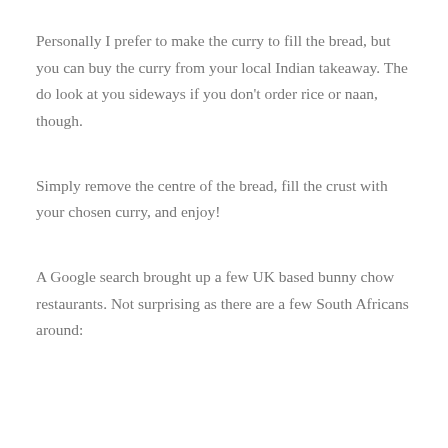Personally I prefer to make the curry to fill the bread, but you can buy the curry from your local Indian takeaway. The do look at you sideways if you don't order rice or naan, though.
Simply remove the centre of the bread, fill the crust with your chosen curry, and enjoy!
A Google search brought up a few UK based bunny chow restaurants. Not surprising as there are a few South Africans around: